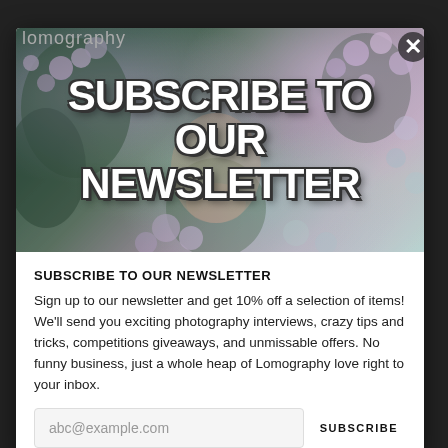lomography
[Figure (photo): Photograph of a person surrounded by lilac/purple flowering branches with overlaid bold white text reading SUBSCRIBE TO OUR NEWSLETTER]
SUBSCRIBE TO OUR NEWSLETTER
Sign up to our newsletter and get 10% off a selection of items! We'll send you exciting photography interviews, crazy tips and tricks, competitions giveaways, and unmissable offers. No funny business, just a whole heap of Lomography love right to your inbox.
abc@example.com
SUBSCRIBE